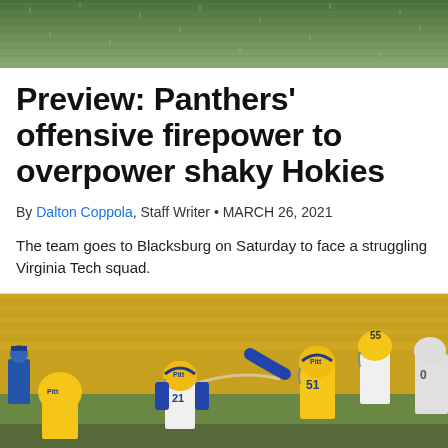[Figure (photo): Top banner photo showing green grass/turf background]
Preview: Panthers’ offensive firepower to overpower shaky Hokies
By Dalton Coppola, Staff Writer • MARCH 26, 2021
The team goes to Blacksburg on Saturday to face a struggling Virginia Tech squad.
[Figure (photo): Football game photo showing Pitt Panthers players in gold and blue uniforms (#21, #51, #55) on the field during a game, with yellow stadium seats in background]